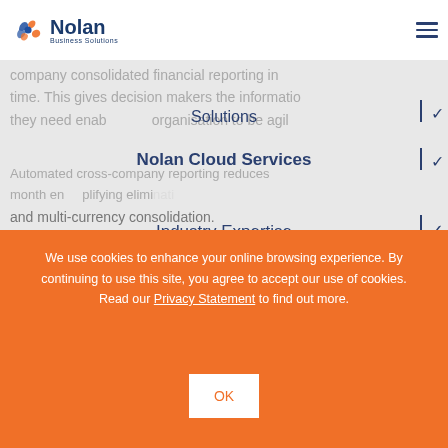Nolan Business Solutions
company consolidated financial reporting in time. This gives decision makers the information they need enabling the organisation to be agil...
Solutions
Nolan Cloud Services
Automated cross-company reporting reduces month end... simplifying eliminations and multi-currency consolidation.
Industry Expertise
Services
We use cookies to enhance your online browsing experience. By continuing to use this site, you agree to accept our use of cookies. Read our Privacy Statement to find out more.
OK